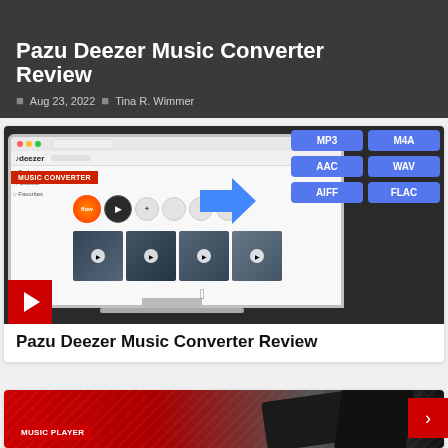Pazu Deezer Music Converter Review
Aug 23, 2022 | Tina R. Wimmer
[Figure (screenshot): Screenshot of Deezer music player on a Mac monitor, showing the Deezer website with playlists and music thumbnails. A large blue arrow points right toward format badges: MP3, M4A, AAC, WAV, AIFF, FLAC. A red banner reads MUSIC CONVERTER.]
Pazu Deezer Music Converter Review
[Figure (photo): Bottom preview card with red background and dark equipment, labeled MUSIC PLAYER in white text on a red banner.]